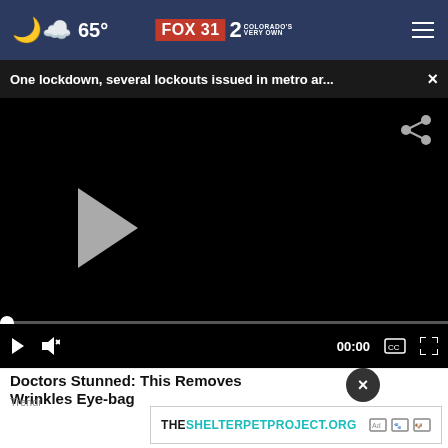65° FOX 31 2 COLORADO'S VERY OWN
One lockdown, several lockouts issued in metro ar... ×
[Figure (screenshot): Black video player with play button, share icon, progress bar at 0, and video controls showing 00:00]
Doctors Stunned: This Removes Wrinkles, Eye-bags
Trending
THESHELTERPETPROJECT.ORG